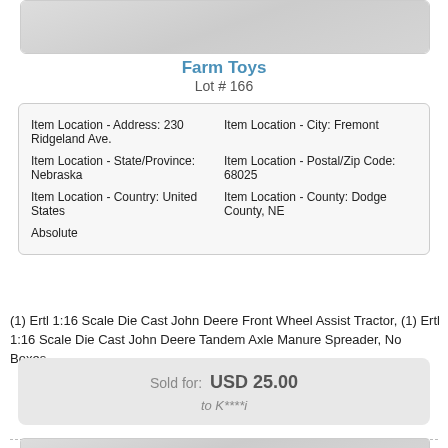[Figure (photo): Top portion of a farm toy product image, partially visible]
Farm Toys
Lot # 166
| Item Location - Address: 230 Ridgeland Ave. | Item Location - City: Fremont |
| Item Location - State/Province: Nebraska | Item Location - Postal/Zip Code: 68025 |
| Item Location - Country: United States | Item Location - County: Dodge County, NE |
| Absolute |  |
(1) Ertl 1:16 Scale Die Cast John Deere Front Wheel Assist Tractor, (1) Ertl 1:16 Scale Die Cast John Deere Tandem Axle Manure Spreader, No Boxes.
Sold for: USD 25.00
to K****i
[Figure (photo): Bottom portion of another farm toy product image, partially visible]